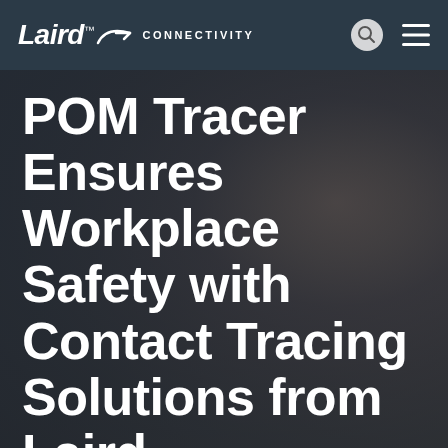Laird™ CONNECTIVITY
POM Tracer Ensures Workplace Safety with Contact Tracing Solutions from Laird Connectivity in Collaboration with